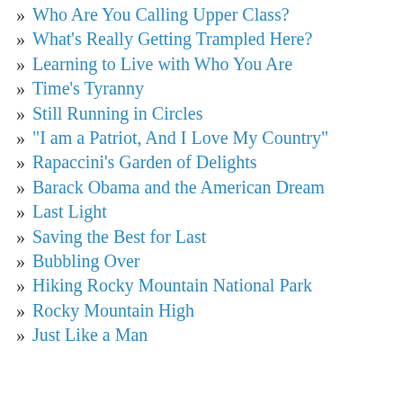» Who Are You Calling Upper Class?
» What's Really Getting Trampled Here?
» Learning to Live with Who You Are
» Time's Tyranny
» Still Running in Circles
» "I am a Patriot, And I Love My Country"
» Rapaccini's Garden of Delights
» Barack Obama and the American Dream
» Last Light
» Saving the Best for Last
» Bubbling Over
» Hiking Rocky Mountain National Park
» Rocky Mountain High
» Just Like a Man